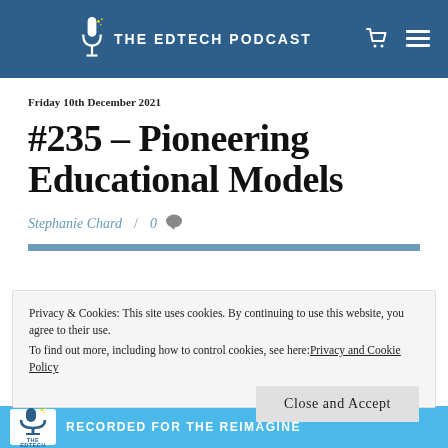THE EDTECH PODCAST
Friday 10th December 2021
#235 – Pioneering Educational Models
Stephanie Chard / 0 💬
Privacy & Cookies: This site uses cookies. By continuing to use this website, you agree to their use.
To find out more, including how to control cookies, see here: Privacy and Cookie Policy
Close and Accept
[Figure (logo): THE EDTECH PODCAST logo with RECORDED FOR THE REIMAGINE text on blue banner]